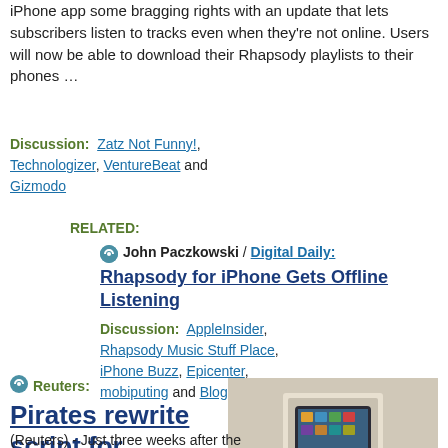iPhone app some bragging rights with an update that lets subscribers listen to tracks even when they're not online. Users will now be able to download their Rhapsody playlists to their phones …
Discussion: Zatz Not Funny!, Technologizer, VentureBeat and Gizmodo
RELATED:
John Paczkowski / Digital Daily: Rhapsody for iPhone Gets Offline Listening
Discussion: AppleInsider, Rhapsody Music Stuff Place, iPhone Buzz, Epicenter, mobiputing and BlogsDNA
Reuters: Pirates rewrite script for Apple's China iPad launch — (Reuters) - Just three weeks after the
[Figure (photo): A photo of hands holding an iPad box, Reuters news image]